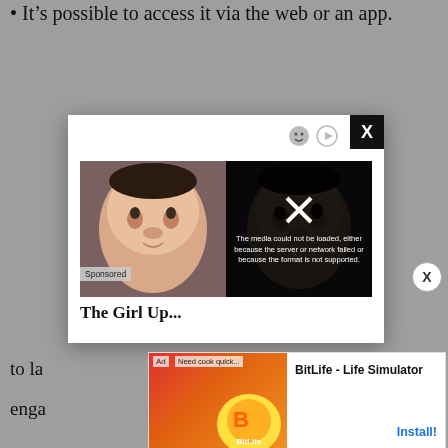It's possible to access it via the web or an app.
[Figure (screenshot): A browser modal popup showing a video player with two faces side by side. The right half shows an error message: 'The media could not be loaded, either because the server or network failed or because the format is not supported.' There is a Sponsored label and partial title 'The Girl Up...' below the video. A close X button appears in the top right corner of the modal.]
to la
enga
[Figure (screenshot): An advertisement banner for 'BitLife - Life Simulator' with a red/orange background on the left showing game UI elements and the BitLife logo, and on the right showing the app title 'BitLife - Life Simulator' and an 'Install!' button in blue.]